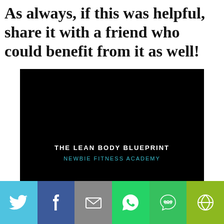As always, if this was helpful, share it with a friend who could benefit from it as well!
[Figure (illustration): Book cover of 'The Lean Body Blueprint' by Newbie Fitness Academy. Black background with white text 'THE LEAN BODY BLUEPRINT' and cyan text 'NEWBIE FITNESS ACADEMY'. A white inset box at bottom reads 'BY CARLO MACAPINLAC' with a website URL underneath.]
[Figure (infographic): Social share bar with six colored buttons: Twitter (light blue), Facebook (dark blue), Email/Mail (gray), WhatsApp (green), SMS (green), and More (olive/yellow-green). Each button displays a white icon.]